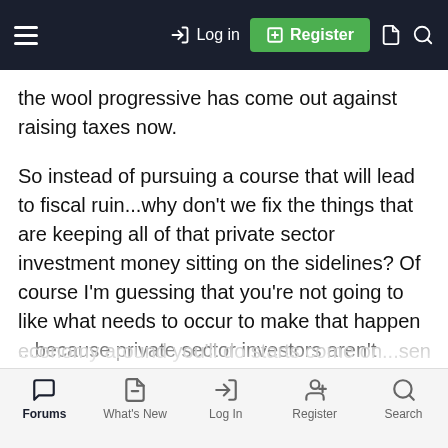Log in | Register
the wool progressive has come out against raising taxes now.
So instead of pursuing a course that will lead to fiscal ruin...why don't we fix the things that are keeping all of that private sector investment money sitting on the sidelines? Of course I'm guessing that you're not going to like what needs to occur to make that happen ...because private sector investors aren't going to take those gambles until they feel more confident with their future potential costs. If you REALLY want to turn the economy around you'll do starts come on...sense it has
Forums | What's New | Log In | Register | Search